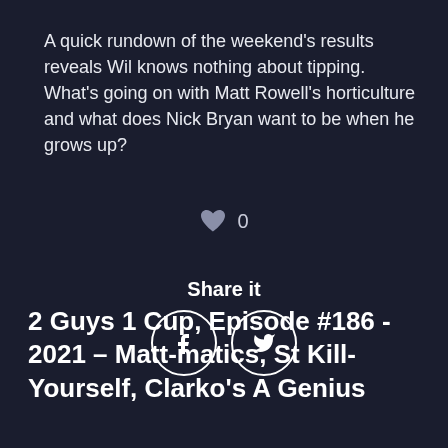A quick rundown of the weekend's results reveals Wil knows nothing about tipping. What's going on with Matt Rowell's horticulture and what does Nick Bryan want to be when he grows up?
♥ 0
Share it
[Figure (other): Facebook and Twitter share buttons as circular icon buttons]
2 Guys 1 Cup, Episode #186 - 2021 – Matt-matics, St Kill-Yourself, Clarko's A Genius